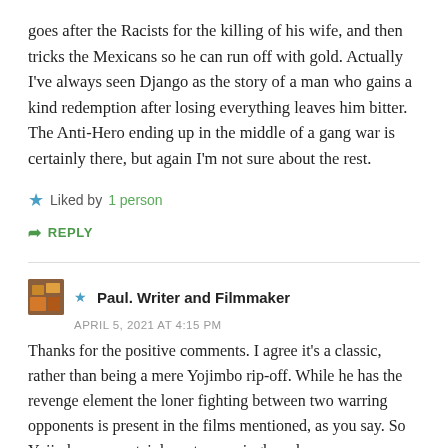goes after the Racists for the killing of his wife, and then tricks the Mexicans so he can run off with gold. Actually I've always seen Django as the story of a man who gains a kind redemption after losing everything leaves him bitter. The Anti-Hero ending up in the middle of a gang war is certainly there, but again I'm not sure about the rest.
Liked by 1 person
REPLY
★ Paul. Writer and Filmmaker
APRIL 5, 2021 AT 4:15 PM
Thanks for the positive comments. I agree it's a classic, rather than being a mere Yojimbo rip-off. While he has the revenge element the loner fighting between two warring opponents is present in the films mentioned, as you say. So Yojimbo was certainly a story springboard